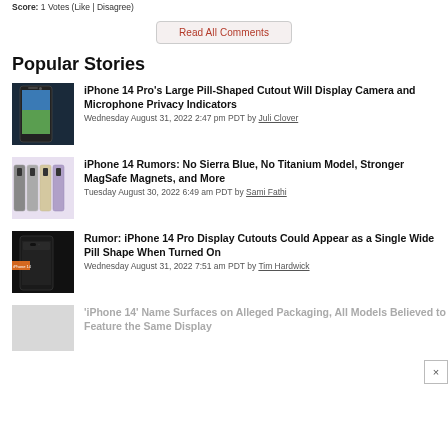Score: 1 Votes (Like | Disagree)
Read All Comments
Popular Stories
[Figure (photo): iPhone 14 Pro with pill-shaped cutout display showing blue sky wallpaper]
iPhone 14 Pro's Large Pill-Shaped Cutout Will Display Camera and Microphone Privacy Indicators
Wednesday August 31, 2022 2:47 pm PDT by Juli Clover
[Figure (photo): Four iPhone 14 Pro models in different colors lined up]
iPhone 14 Rumors: No Sierra Blue, No Titanium Model, Stronger MagSafe Magnets, and More
Tuesday August 30, 2022 6:49 am PDT by Sami Fathi
[Figure (photo): iPhone 14 Pro display cutouts photo with iPhone 14 label overlay]
Rumor: iPhone 14 Pro Display Cutouts Could Appear as a Single Wide Pill Shape When Turned On
Wednesday August 31, 2022 7:51 am PDT by Tim Hardwick
[Figure (photo): iPhone 14 packaging placeholder image (gray)]
'iPhone 14' Name Surfaces on Alleged Packaging, All Models Believed to Feature the Same Display